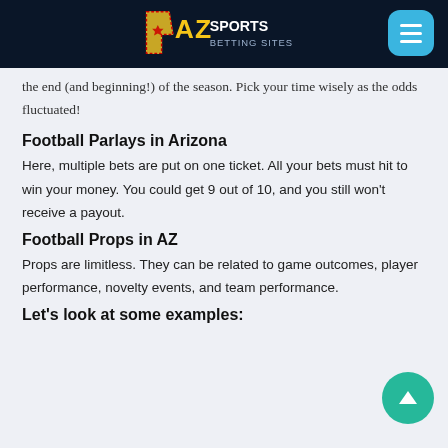AZ Sports Betting Sites
the end (and beginning!) of the season. Pick your time wisely as the odds fluctuated!
Football Parlays in Arizona
Here, multiple bets are put on one ticket. All your bets must hit to win your money. You could get 9 out of 10, and you still won't receive a payout.
Football Props in AZ
Props are limitless. They can be related to game outcomes, player performance, novelty events, and team performance.
Let's look at some examples: